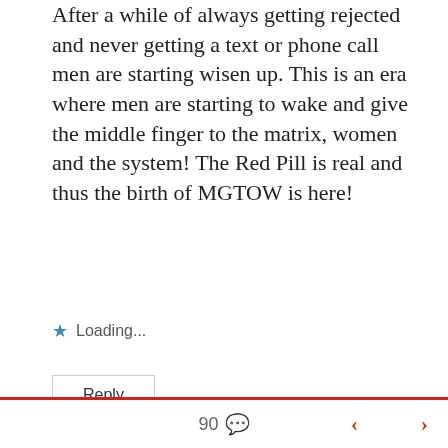After a while of always getting rejected and never getting a text or phone call men are starting wisen up. This is an era where men are starting to wake and give the middle finger to the matrix, women and the system! The Red Pill is real and thus the birth of MGTOW is here!
Loading...
Reply
Jennifer Sal...
90